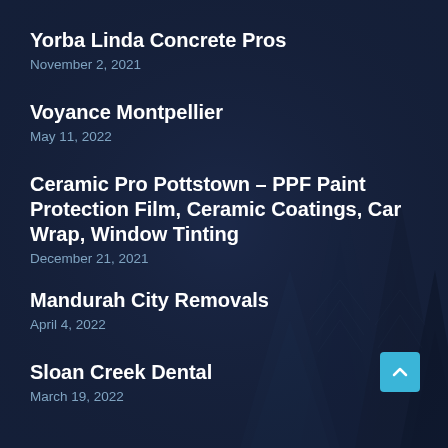Yorba Linda Concrete Pros
November 2, 2021
Voyance Montpellier
May 11, 2022
Ceramic Pro Pottstown – PPF Paint Protection Film, Ceramic Coatings, Car Wrap, Window Tinting
December 21, 2021
Mandurah City Removals
April 4, 2022
Sloan Creek Dental
March 19, 2022
[Figure (illustration): Dark navy blue background with silhouettes of pine/fir trees, creating a forest scene. A cyan/teal back-to-top arrow button appears in the lower right.]